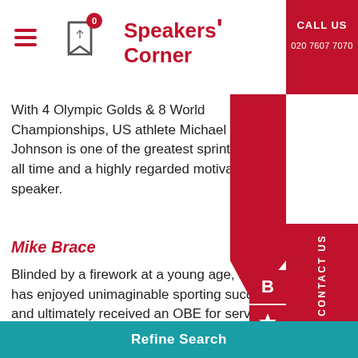[Figure (screenshot): Speakers Corner website header with hamburger menu, bookmark icon with badge showing 0, Speakers Corner logo in red, and red panel with CALL US and phone number 020 7607 7070]
With 4 Olympic Golds & 8 World Championships, US athlete Michael Johnson is one of the greatest sprinters of all time and a highly regarded motivational speaker.
Mike Brace
Blinded by a firework at a young age, Mike has enjoyed unimaginable sporting success and ultimately received an OBE for services to disabled sport.
Mike Forde
Refine Search